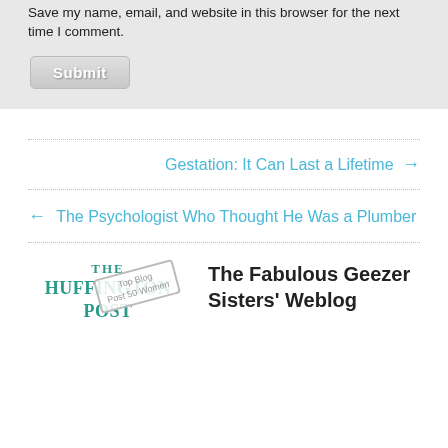Save my name, email, and website in this browser for the next time I comment.
Submit
Gestation: It Can Last a Lifetime →
← The Psychologist Who Thought He Was a Plumber
[Figure (logo): The Huffington Post logo with 'Top Blog Post 50 Women' stamp]
The Fabulous Geezer Sisters' Weblog